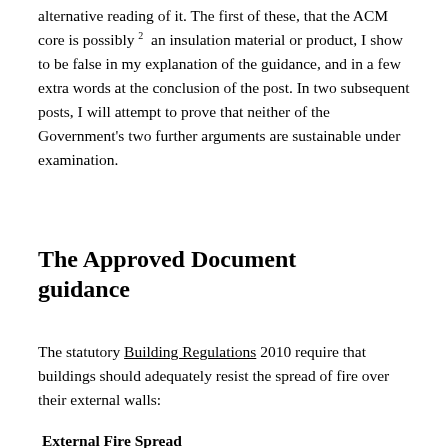alternative reading of it. The first of these, that the ACM core is possibly 2 an insulation material or product, I show to be false in my explanation of the guidance, and in a few extra words at the conclusion of the post. In two subsequent posts, I will attempt to prove that neither of the Government's two further arguments are sustainable under examination.
The Approved Document guidance
The statutory Building Regulations 2010 require that buildings should adequately resist the spread of fire over their external walls:
External Fire Spread
B4    (1) The external walls of the building